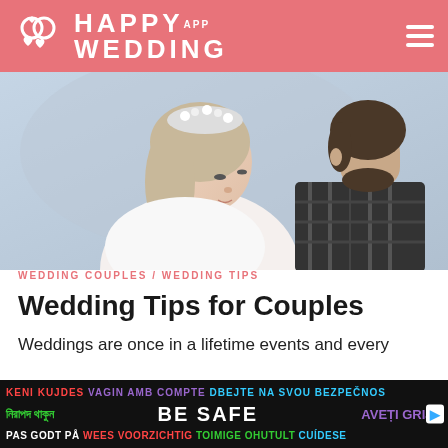HAPPY WEDDING APP
[Figure (photo): Close-up photo of a bride and groom facing each other, bride wearing floral crown, groom in plaid shirt, soft outdoor background]
WEDDING COUPLES / WEDDING TIPS
Wedding Tips for Couples
Weddings are once in a lifetime events and every one wants to celebrate their wedding to the
[Figure (infographic): BE SAFE multilingual advertisement banner with text in multiple languages and colors including: KENI KUJDES, VAGIN AMB COMPTE, DBEJTE NA SVOU BEZPECNOST, নিরাপদ থাকুন, BE SAFE, AVEȚI GRIJĂ, PAS GODT PÅ, WEES VOORZICHTIG, TOIMIGE OHUTULT, CUÍDESE]